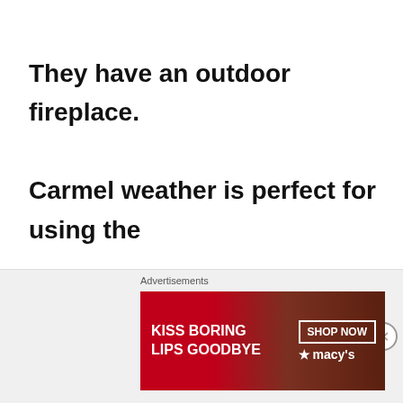They have an outdoor fireplace. Carmel weather is perfect for using the fireplaces as evenings are cool. I note that even the house pet has a container out here thoughtfully shaded
[Figure (illustration): Advertisement banner for Macy's lipstick promotion: dark red background with partial woman's face showing red lips, text 'KISS BORING LIPS GOODBYE', 'SHOP NOW' button, and Macy's star logo]
Advertisements